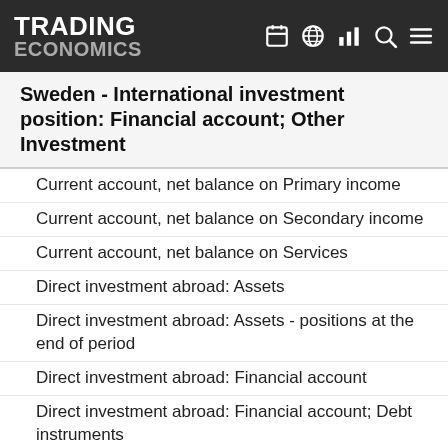TRADING ECONOMICS
Sweden - International investment position: Financial account; Other Investment
Current account, net balance on Primary income
Current account, net balance on Secondary income
Current account, net balance on Services
Direct investment abroad: Assets
Direct investment abroad: Assets - positions at the end of period
Direct investment abroad: Financial account
Direct investment abroad: Financial account; Debt instruments
Direct investment abroad: Financial account; Equity
Direct investment abroad: Financial account; Reinvestment of earnings
Direct investment in the reporting economy (flows)
Direct investment in the reporting economy (stocks)
Direct investment in the reporting economy: Financial account
Direct investment in the reporting economy: Financial